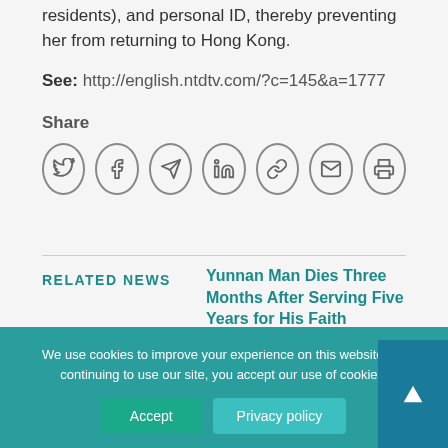residents), and personal ID, thereby preventing her from returning to Hong Kong.
See: http://english.ntdtv.com/?c=145&a=1777
Share
[Figure (other): Social share icons: Twitter, Facebook, Telegram, LinkedIn, Link, Email, Print]
RELATED NEWS
Yunnan Man Dies Three Months After Serving Five Years for His Faith
We use cookies to improve your experience on this website. By continuing to use our site, you accept our use of cookies.
Accept
Privacy policy